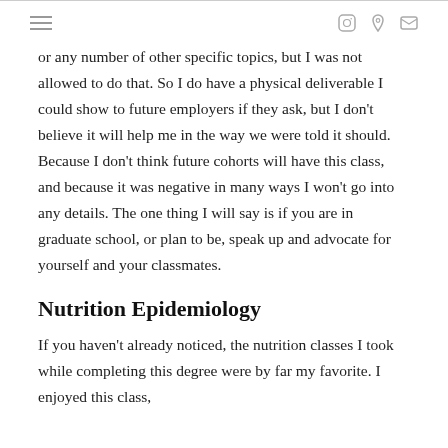≡  [icons]
or any number of other specific topics, but I was not allowed to do that. So I do have a physical deliverable I could show to future employers if they ask, but I don't believe it will help me in the way we were told it should. Because I don't think future cohorts will have this class, and because it was negative in many ways I won't go into any details. The one thing I will say is if you are in graduate school, or plan to be, speak up and advocate for yourself and your classmates.
Nutrition Epidemiology
If you haven't already noticed, the nutrition classes I took while completing this degree were by far my favorite. I enjoyed this class,